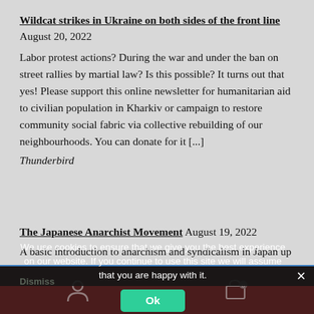Wildcat strikes in Ukraine on both sides of the front line August 20, 2022
Labor protest actions? During the war and under the ban on street rallies by martial law? Is this possible? It turns out that yes! Please support this online newsletter for humanitarian aid to civilian population in Kharkiv or campaign to restore community social fabric via collective rebuilding of our neighbourhoods. You can donate for it [...]
Thunderbird
The Japanese Anarchist Movement August 19, 2022
A basic introduction to anarchism and syndicalism in Japan up to
On February 1, 2021, Our Online-Shop will be closed. All orders until January 31 will be delivered
Dismiss
We use cookies to ensure that we give you the best experience on our website. If you continue to use this site we will assume that you are happy with it.
Ok